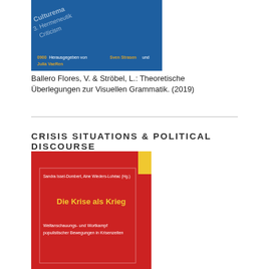[Figure (photo): Blue book cover with diagonal text lines and editor names - Herausgegeben von Sven Strasen und Julia VaeRen]
Ballero Flores, V. & Ströbel, L.: Theoretische Überlegungen zur Visuellen Grammatik. (2019)
CRISIS SITUATIONS & POLITICAL DISCOURSE
[Figure (photo): Red book cover 'Die Krise als Krieg' - Sandra Issel-Dombert, Aine Wieders-Lohéac (Hg.) - Weltanschauungs- und Wortkampf populistischer Bewegungen in Krisenzeiten, with yellow tab at top right]